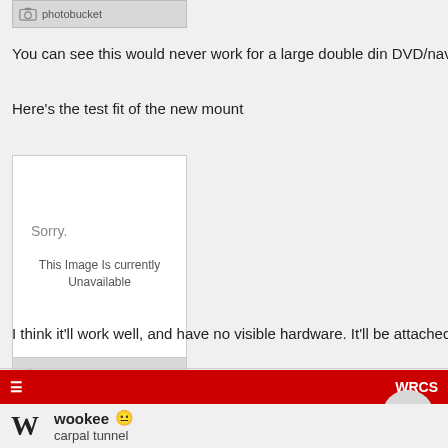[Figure (screenshot): Photobucket unavailable image placeholder (top, partial) with camera icon and photobucket text]
You can see this would never work for a large double din DVD/nav syst
Here's the test fit of the new mount
[Figure (screenshot): Photobucket unavailable image placeholder showing 'Sorry. This Image Is Currently Unavailable' with Photobucket logo footer]
I think it'll work well, and have no visible hardware. It'll be attached from
wookee  carpal tunnel
[Figure (other): Scroll to top button (chevron up circle) and WRCS navigation button on red bar]